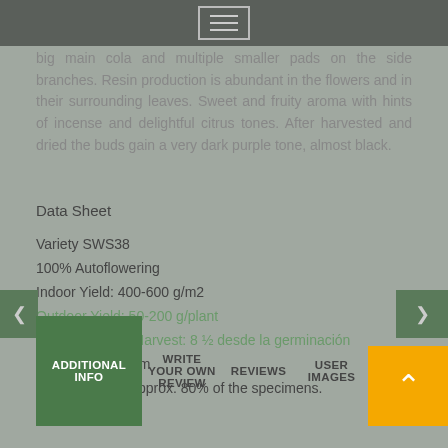Navigation menu header bar
big main cola and multiple smaller pads on the side branches. Resin production is abundant in the flowers and in their surrounding leaves. Sweet and fruity aroma with hints of incense and delightful citrus tones. After harvested and dried the buds gain a very dark purple tone, almost black.
Data Sheet
Variety SWS38
100% Autoflowering
Indoor Yield: 400-600 g/m2
Outdoor Yield: 50-200 g/plant
Indoor/Outdoor Harvest: 8 ½ desde la germinación
Height: 80-130 cm
Purple Flower: approx. 80% of the specimens.
ADDITIONAL INFO | WRITE YOUR OWN REVIEW | REVIEWS | USER IMAGES